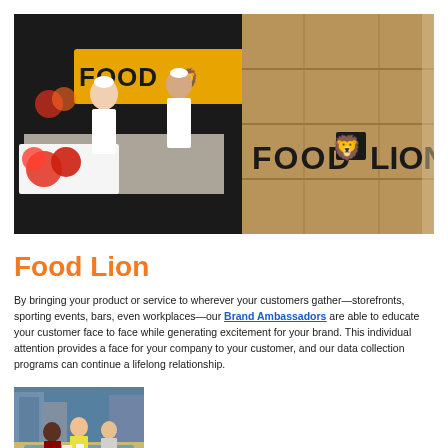[Figure (photo): Wide photo of a Food Lion branded event with chefs at a cooking demonstration booth on the left and a wooden crate stamped with 'FOOD LION' logo on the right.]
Food Lion
By bringing your product or service to wherever your customers gather—storefronts, sporting events, bars, even workplaces—our Brand Ambassadors are able to educate your customer face to face while generating excitement for your brand. This individual attention provides a face for your company to your customer, and our data collection programs can continue a lifelong relationship.
[Figure (photo): Photo of people gathered around a table at what appears to be an outdoor brand ambassador event near a pool or plaza area.]